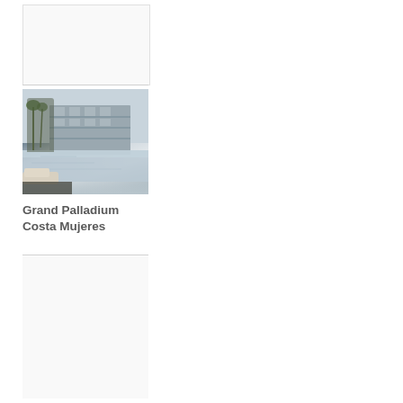[Figure (photo): Top card placeholder area, light gray box]
[Figure (photo): Hotel pool and building exterior photo of Grand Palladium Costa Mujeres resort, showing reflective pool, lounge chair in foreground, multi-story building and palm trees]
Grand Palladium Costa Mujeres
[Figure (photo): Bottom card placeholder area, light gray box]